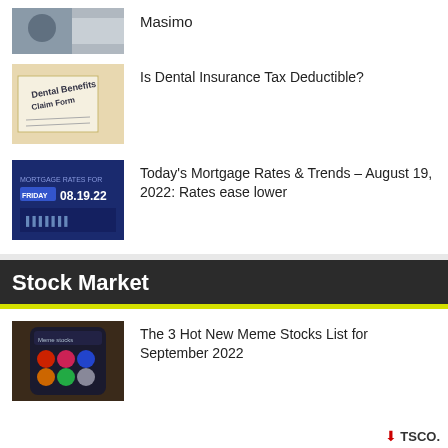[Figure (photo): Partial thumbnail image of a person - Masimo article thumbnail]
Masimo
[Figure (photo): Dental Benefits Claim Form document thumbnail]
Is Dental Insurance Tax Deductible?
[Figure (photo): Mortgage rates banner: FRIDAY 08.19.22]
Today's Mortgage Rates & Trends – August 19, 2022: Rates ease lower
Stock Market
[Figure (photo): Meme stocks phone app screen thumbnail]
The 3 Hot New Meme Stocks List for September 2022
↓ TSCO.